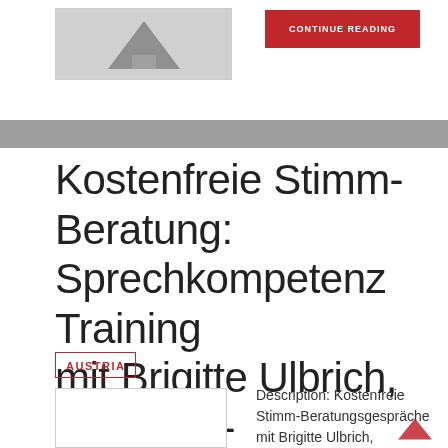[Figure (screenshot): Partial image thumbnail at top left with gray triangle/arrow shape, and a red CONTINUE READING button to the right]
Kostenfreie Stimm-Beratung: Sprechkompetenz Training mit Brigitte Ulbrich, Business-Stimmcoach
AUSTRIA
[Figure (photo): Bottom thumbnail image box]
Description: Kostenfreie Stimm-Beratungsgespräche mit Brigitte Ulbrich, Business-Stimmcoach, Austri...